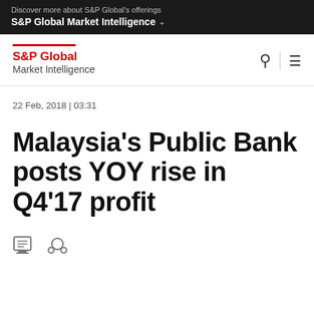Discover more about S&P Global's offerings
S&P Global Market Intelligence
[Figure (logo): S&P Global Market Intelligence logo with red underline, search icon and hamburger menu]
22 Feb, 2018 | 03:31
Malaysia's Public Bank posts YOY rise in Q4'17 profit